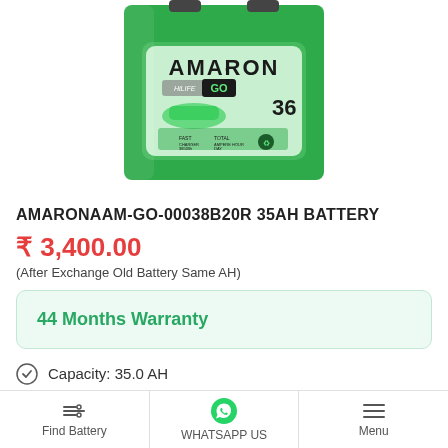[Figure (photo): Green Amaron HiLife GO car battery product photo, showing the front label with AMARON branding, a car image, and the number 36]
AMARONAAM-GO-00038B20R 35AH BATTERY
₹ 3,400.00
(After Exchange Old Battery Same AH)
44 Months Warranty
Capacity: 35.0 AH
Find Battery   WHATSAPP US   Menu